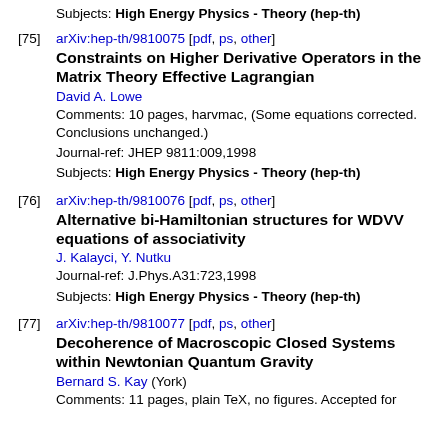Subjects: High Energy Physics - Theory (hep-th)
[75] arXiv:hep-th/9810075 [pdf, ps, other]
Constraints on Higher Derivative Operators in the Matrix Theory Effective Lagrangian
David A. Lowe
Comments: 10 pages, harvmac, (Some equations corrected. Conclusions unchanged.)
Journal-ref: JHEP 9811:009,1998
Subjects: High Energy Physics - Theory (hep-th)
[76] arXiv:hep-th/9810076 [pdf, ps, other]
Alternative bi-Hamiltonian structures for WDVV equations of associativity
J. Kalayci, Y. Nutku
Journal-ref: J.Phys.A31:723,1998
Subjects: High Energy Physics - Theory (hep-th)
[77] arXiv:hep-th/9810077 [pdf, ps, other]
Decoherence of Macroscopic Closed Systems within Newtonian Quantum Gravity
Bernard S. Kay (York)
Comments: 11 pages, plain TeX, no figures. Accepted for